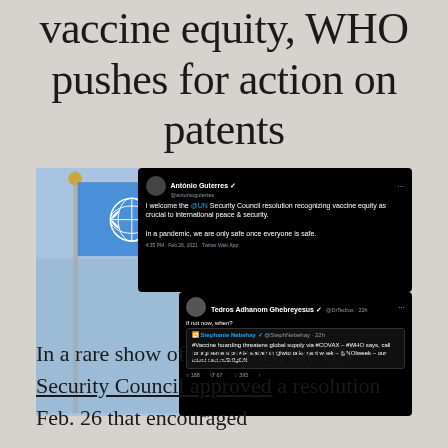vaccine equity, WHO pushes for action on patents
[Figure (screenshot): Composite image showing a UN flag photo overlaid with two Twitter/X screenshots. Top tweet from António Guterres welcoming the UN Security Council resolution on vaccine equity. Bottom tweet from Tedros Adhanom Ghebreyesus quoting Stephanie Nebehay about vaccine hoarding and IP waiver.]
In a rare show of unanimity, the UN Security Council approved a resolution Feb. 26 that encouraged